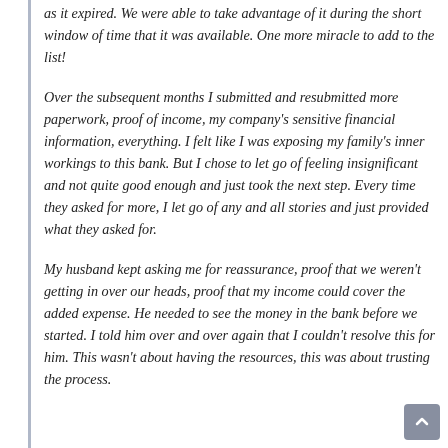as it expired. We were able to take advantage of it during the short window of time that it was available. One more miracle to add to the list!
Over the subsequent months I submitted and resubmitted more paperwork, proof of income, my company's sensitive financial information, everything. I felt like I was exposing my family's inner workings to this bank. But I chose to let go of feeling insignificant and not quite good enough and just took the next step. Every time they asked for more, I let go of any and all stories and just provided what they asked for.
My husband kept asking me for reassurance, proof that we weren't getting in over our heads, proof that my income could cover the added expense. He needed to see the money in the bank before we started. I told him over and over again that I couldn't resolve this for him. This wasn't about having the resources, this was about trusting the process.